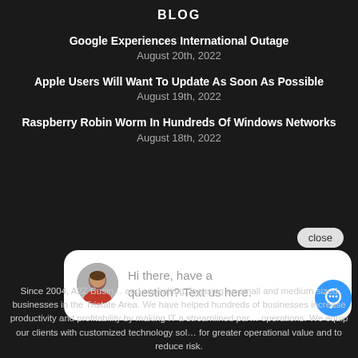BLOG
Google Experiences International Outage
August 20th, 2022
Apple Users Will Want To Update As Soon As Possible
August 19th, 2022
Raspberry Robin Worm In Hundreds Of Windows Networks
August 18th, 2022
[Figure (screenshot): Chat popup with close button, avatar photo of a woman, and text: Hi there, have a question? Text us here. Blue chat icon button at bottom right.]
Since 2004, A2Z Business and consulting, focusing on small and medium sized businesses in the Tristate Area. We have helped hundreds of businesses increase productivity and profitability by making IT a streamlined part of operations. We equip our clients with customized technology solutions for greater operational value and to reduce risk.